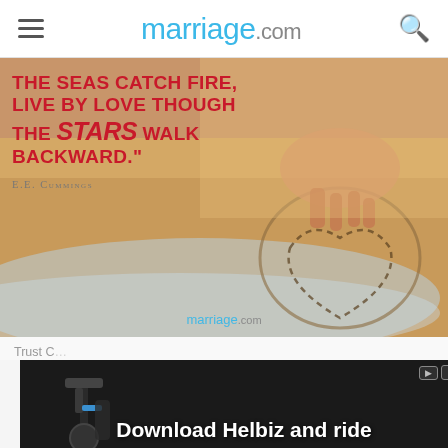marriage.com
[Figure (photo): Beach scene with hands drawing a heart in sand and ocean waves. Quote overlay reads: 'THE SEAS CATCH FIRE, LIVE BY LOVE THOUGH THE STARS WALK BACKWARD.' E.E. CUMMINGS. marriage.com watermark at bottom.]
[Figure (photo): Advertisement banner for Helbiz scooter app showing a scooter handlebar. Text: 'Download Helbiz and ride']
Trust C...
"Trus... love though the stars... though...